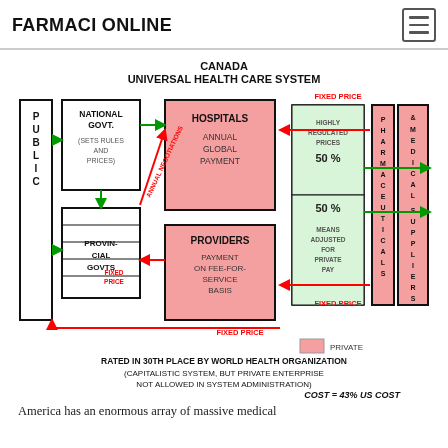FARMACI ONLINE
[Figure (flowchart): Canada Universal Health Care System flowchart showing relationships between Public, National Govt (Sets Rules and Prices), Provincial Govts, Hospitals (Annual Global Payment), Providers (Payment on Fee-For-Service Basis), Pharmaceuticals & Medical Suppliers, with arrows showing Fixed Price, Annual Negotiations, and Highly Regulated Prices at 50%. Legend shows pink = Private. Rated in 30th place by World Health Organization. Cost = 43% US Cost.]
America has an enormous array of massive medical